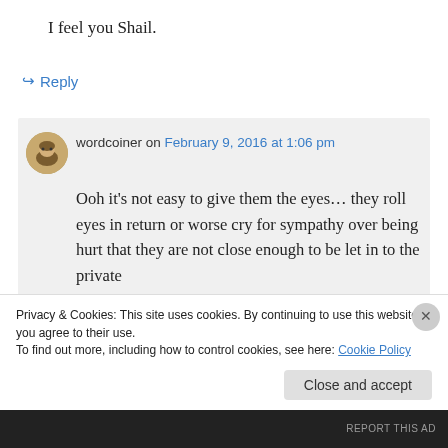I feel you Shail.
↳ Reply
wordcoiner on February 9, 2016 at 1:06 pm
Ooh it's not easy to give them the eyes… they roll eyes in return or worse cry for sympathy over being hurt that they are not close enough to be let in to the private
Privacy & Cookies: This site uses cookies. By continuing to use this website, you agree to their use.
To find out more, including how to control cookies, see here: Cookie Policy
Close and accept